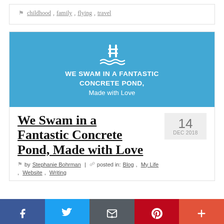childhood, family, flying, travel
[Figure (illustration): Blog post featured image with blue background showing a swimming pool ladder icon and text: WE SWAM IN A FANTASTIC CONCRETE POND, Made with Love]
We Swam in a Fantastic Concrete Pond, Made with Love
by Stephanie Bohrman | posted in: Blog, My Life, Website, Writing
14 DEC 2018
[Figure (infographic): Social share bar with Facebook, Twitter, Email, Pinterest, and More buttons]